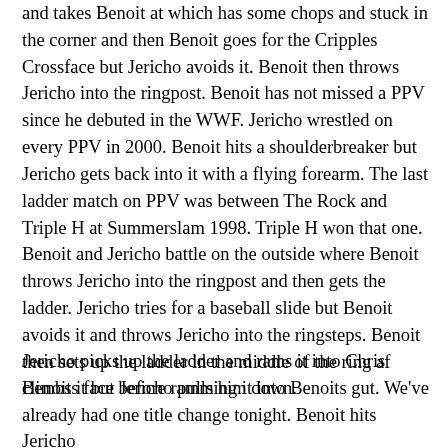and takes Benoit at which has some chops and stuck in the corner and then Benoit goes for the Cripples Crossface but Jericho avoids it. Benoit then throws Jericho into the ringpost. Benoit has not missed a PPV since he debuted in the WWF. Jericho wrestled on every PPV in 2000. Benoit hits a shoulderbreaker but Jericho gets back into it with a flying forearm. The last ladder match on PPV was between The Rock and Triple H at Summerslam 1998. Triple H won that one. Benoit and Jericho battle on the outside where Benoit throws Jericho into the ringpost and then gets the ladder. Jericho tries for a baseball slide but Benoit avoids it and throws Jericho into the ringsteps. Benoit then sets up the ladder in the middle of the ring af climbs it but Jericho pulls him down.
Jericho picks up the ladder and rams it into Chris Benoits face before ramming it into Benoits gut. We've already had one title change tonight. Benoit hits Jericho